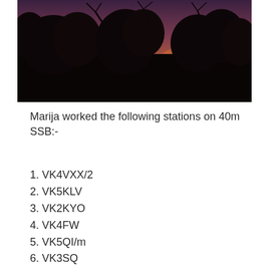[Figure (photo): Silhouette of trees against a sunset sky with orange, pink and dark tones]
Marija worked the following stations on 40m SSB:-
1. VK4VXX/2
2. VK5KLV
3. VK2KYO
4. VK4FW
5. VK5QI/m
6. VK3SQ
7. VK3XL
8. VK2HOT
9. VK5PL
10. VK3FLQ